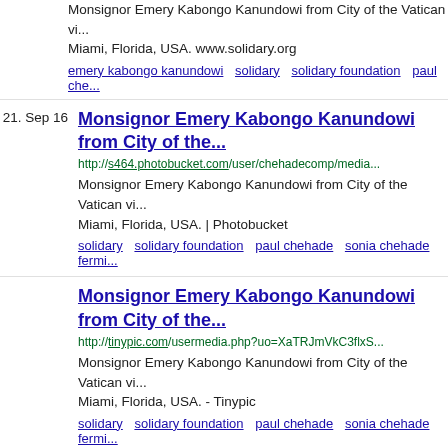Monsignor Emery Kabongo Kanundowi from City of the Vatican vi... Miami, Florida, USA. www.solidary.org
emery kabongo kanundowi   solidary   solidary foundation   paul che...
21. Sep 16
Monsignor Emery Kabongo Kanundowi from City of the...
http://s464.photobucket.com/user/chehadecomp/media...
Monsignor Emery Kabongo Kanundowi from City of the Vatican vi... Miami, Florida, USA. | Photobucket
solidary   solidary foundation   paul chehade   sonia chehade   fermi...
Monsignor Emery Kabongo Kanundowi from City of the...
http://tinypic.com/usermedia.php?uo=XaTRJmVkC3flxS...
Monsignor Emery Kabongo Kanundowi from City of the Vatican vi... Miami, Florida, USA. - Tinypic
solidary   solidary foundation   paul chehade   sonia chehade   fermi...
1  2  3  4  ...  12  13  14  15  weiter   Zeige